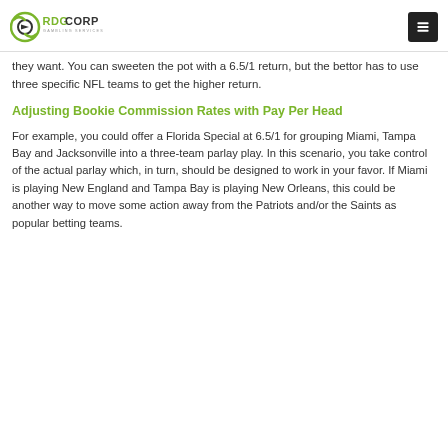RDGCORP GAMBLING SERVICES
they want. You can sweeten the pot with a 6.5/1 return, but the bettor has to use three specific NFL teams to get the higher return.
Adjusting Bookie Commission Rates with Pay Per Head
For example, you could offer a Florida Special at 6.5/1 for grouping Miami, Tampa Bay and Jacksonville into a three-team parlay play. In this scenario, you take control of the actual parlay which, in turn, should be designed to work in your favor. If Miami is playing New England and Tampa Bay is playing New Orleans, this could be another way to move some action away from the Patriots and/or the Saints as popular betting teams.